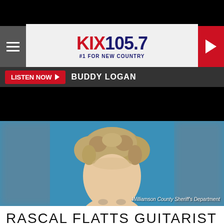[Figure (logo): KIX 105.7 radio station logo with tagline #1 For New Country on light background, flanked by hamburger menu icon on left and red play button on right]
LISTEN NOW ▶  BUDDY LOGAN
[Figure (photo): Mugshot photo of a man with curly light brown hair against a blue background, with blurred edges on sides. Credit: Williamson County Sheriff's Department]
Williamson County Sheriff's Department
RASCAL FLATTS GUITARIST JOE